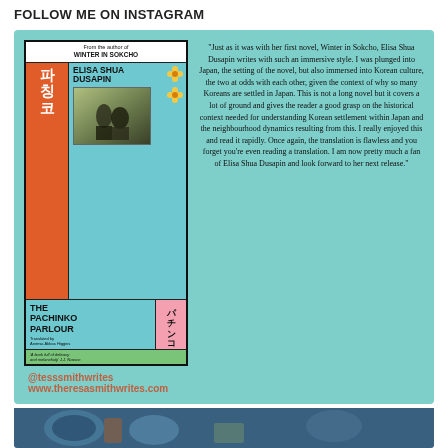FOLLOW ME ON INSTAGRAM
[Figure (infographic): Instagram post showing book cover of 'The Pachinko Parlour' by Elisa Shua Dusapin alongside a book review quote, with @tesssmithwrites handle and www.theresasmithwrites.com website]
[Figure (photo): Partial photo strip at the bottom of the page showing dishes/food items]